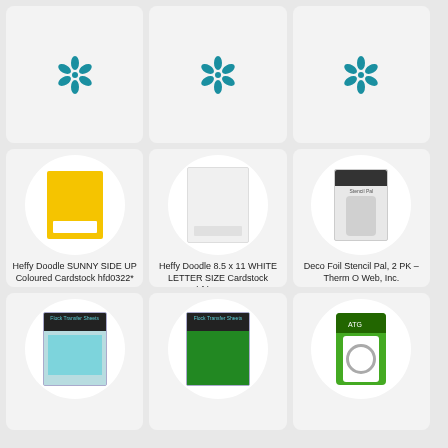[Figure (other): Top row card 1 with teal flower/star logo]
[Figure (other): Top row card 2 with teal flower/star logo]
[Figure (other): Top row card 3 with teal flower/star logo]
[Figure (other): Yellow cardstock product image in circle]
Heffy Doodle SUNNY SIDE UP Coloured Cardstock hfd0322*
buy from
[Figure (logo): Joann dog pixel art logo]
[Figure (other): White cardstock product image in circle]
Heffy Doodle 8.5 x 11 WHITE LETTER SIZE Cardstock hfdw8511c
buy from
[Figure (logo): Joann dog pixel art logo]
[Figure (other): Deco Foil Stencil Pal product in circle]
Deco Foil Stencil Pal, 2 PK – Therm O Web, Inc.
buy from
[Figure (other): Teal flower/star logo (Joann retailer)]
[Figure (other): Flock Transfer Sheets light blue package]
[Figure (other): Flock Transfer Sheets green package]
[Figure (other): ATG adhesive runner green package]